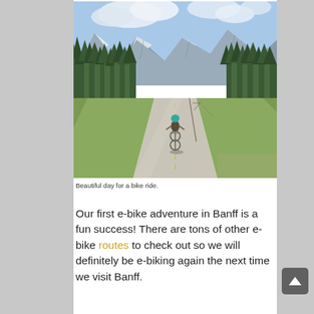[Figure (photo): A person riding a bicycle on a paved road with trees on both sides, large snow-capped mountains in the background under a partly cloudy sky. The rider wears a teal/turquoise helmet.]
Beautiful day for a bike ride.
Our first e-bike adventure in Banff is a fun success! There are tons of other e-bike routes to check out so we will definitely be e-biking again the next time we visit Banff.